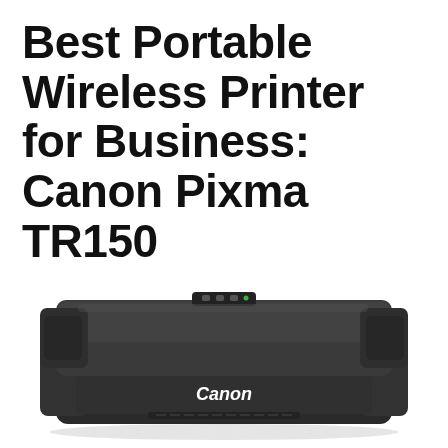Best Portable Wireless Printer for Business: Canon Pixma TR150
[Figure (photo): Canon Pixma TR150 portable wireless printer, a compact black rectangular device with rounded corners, small control panel on top center, and Canon branding on the front face, photographed from a slight angle showing the top and front]